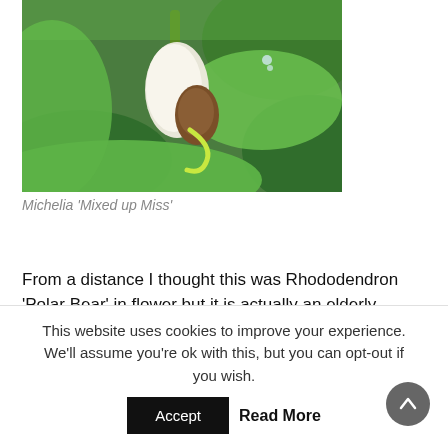[Figure (photo): Close-up photo of a Michelia plant bud with green leaves, showing a pale white and brown seed pod among lush green foliage with water droplets.]
Michelia 'Mixed up Miss'
From a distance I thought this was Rhododendron 'Polar Bear' in flower but it is actually an elderly Rhododendron decorum with secondary autumn flowers. Certainly the leaf
This website uses cookies to improve your experience. We'll assume you're ok with this, but you can opt-out if you wish.